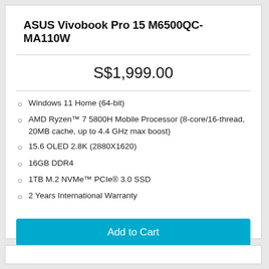ASUS Vivobook Pro 15 M6500QC-MA110W
S$1,999.00
Windows 11 Home (64-bit)
AMD Ryzen™ 7 5800H Mobile Processor (8-core/16-thread, 20MB cache, up to 4.4 GHz max boost)
15.6 OLED 2.8K (2880X1620)
16GB DDR4
1TB M.2 NVMe™ PCIe® 3.0 SSD
2 Years International Warranty
Add to Cart